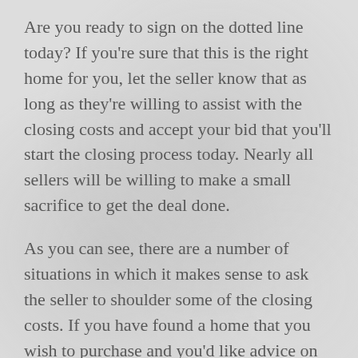Are you ready to sign on the dotted line today? If you're sure that this is the right home for you, let the seller know that as long as they're willing to assist with the closing costs and accept your bid that you'll start the closing process today. Nearly all sellers will be willing to make a small sacrifice to get the deal done.
As you can see, there are a number of situations in which it makes sense to ask the seller to shoulder some of the closing costs. If you have found a home that you wish to purchase and you'd like advice on how to proceed, contact a real estate agent today. An experience real estate professional can help you craft an offer that the seller won't be able to refuse.